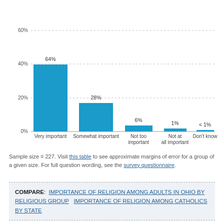[Figure (bar-chart): ]
Sample size = 227. Visit this table to see approximate margins of error for a group of a given size. For full question wording, see the survey questionnaire.
COMPARE: IMPORTANCE OF RELIGION AMONG ADULTS IN OHIO BY RELIGIOUS GROUP   IMPORTANCE OF RELIGION AMONG CATHOLICS BY STATE